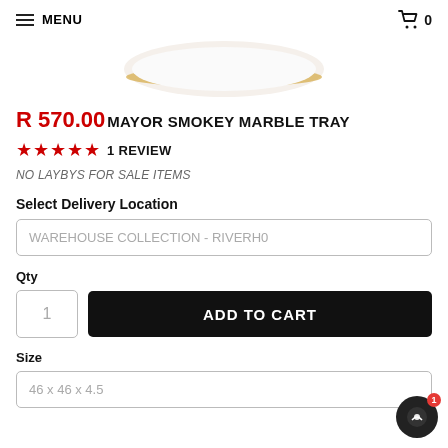MENU | Cart 0
[Figure (photo): Partial view of a marble tray product image, showing the bottom portion of a round white/cream marble tray with gold rim]
R 570.00 MAYOR SMOKEY MARBLE TRAY
★★★★★ 1 REVIEW
NO LAYBYS FOR SALE ITEMS
Select Delivery Location
WAREHOUSE COLLECTION - RIVERHO
Qty
1
ADD TO CART
Size
46 x 46 x 4.5